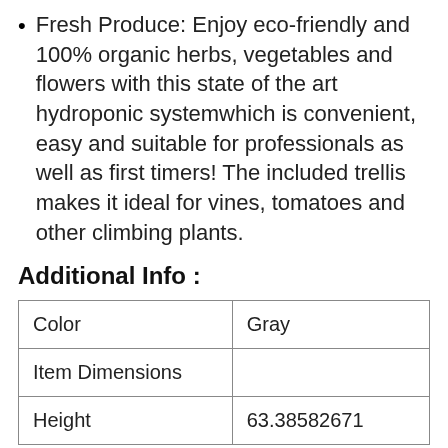Fresh Produce: Enjoy eco-friendly and 100% organic herbs, vegetables and flowers with this state of the art hydroponic systemwhich is convenient, easy and suitable for professionals as well as first timers! The included trellis makes it ideal for vines, tomatoes and other climbing plants.
Additional Info :
| Color | Gray |
| Item Dimensions |  |
| Height | 63.38582671 |